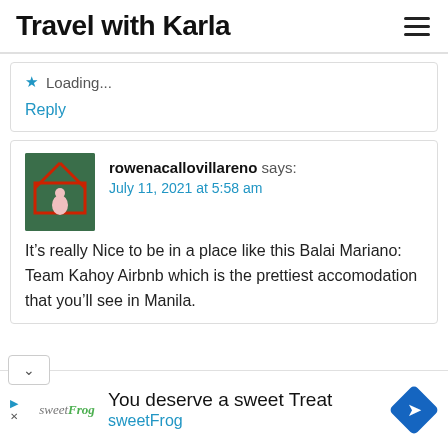Travel with Karla
Loading...
Reply
rowenacallovillareno says: July 11, 2021 at 5:58 am
It’s really Nice to be in a place like this Balai Mariano: Team Kahoy Airbnb which is the prettiest accomodation that you’ll see in Manila.
[Figure (other): Sweet Frog advertisement banner with logo and text 'You deserve a sweet Treat' and 'sweetFrog']